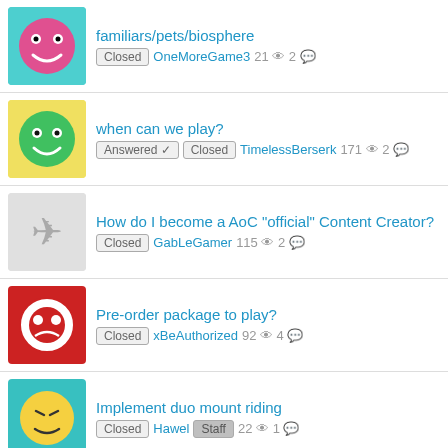familiars/pets/biosphere | Closed | OneMoreGame3 | 21 views | 2 comments
when can we play? | Answered ✓ | Closed | TimelessBerserk | 171 views | 2 comments
How do I become a AoC "official" Content Creator? | Closed | GabLeGamer | 115 views | 2 comments
Pre-order package to play? | Closed | xBeAuthorized | 92 views | 4 comments
Implement duo mount riding | Closed | Hawel | Staff | 22 views | 1 comment
Game Price (Subscription Question) | Answered | Closed | MoonBun | 61 views | 2 comments
Shop | Closed | GrimReapor | 31 views | 1 comment
Braver Title | Answered | Closed | Bloody Fangs | Staff | 25 views | 2 comments
Forum Style bug | Closed | mpwafflos | Staff | 14 views | 1 comment